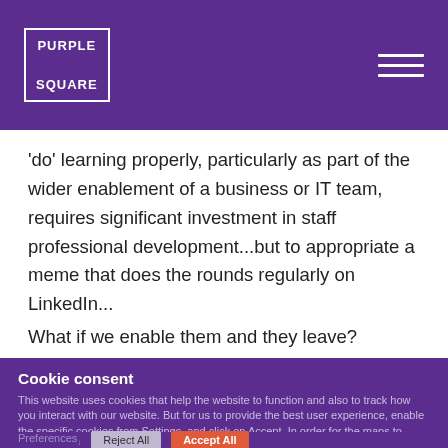PURPLE SQUARE
'do' learning properly, particularly as part of the wider enablement of a business or IT team, requires significant investment in staff professional development...but to appropriate a meme that does the rounds regularly on LinkedIn...
What if we enable them and they leave?
Cookie consent
This website uses cookies that help the website to function and also to track how you interact with our website. But for us to provide the best user experience, enable the specific cookies from Settings, and click on Accept. In order for the maps to function properly in the contact us page please click accept all cookies, thank you.